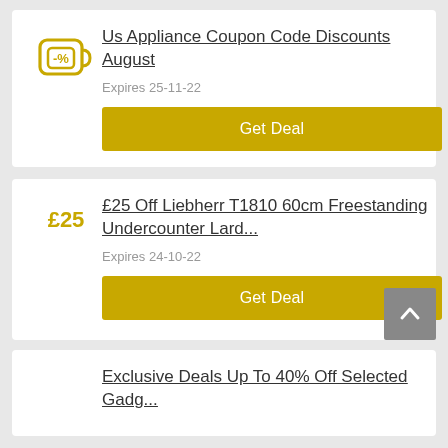Us Appliance Coupon Code Discounts August
Expires 25-11-22
Get Deal
£25 Off Liebherr T1810 60cm Freestanding Undercounter Lard...
£25
Expires 24-10-22
Get Deal
Exclusive Deals Up To 40% Off Selected Gadg...